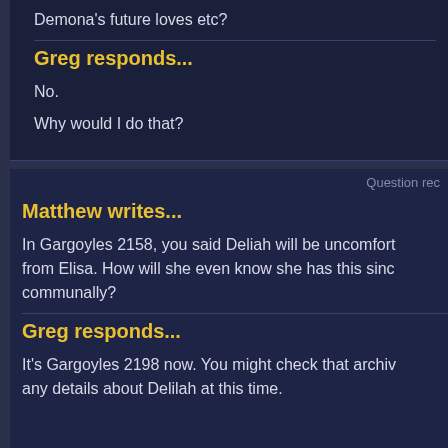Demona's future loves etc?
Greg responds...
No.
Why would I do that?
Question rec
Matthew writes...
In Gargoyles 2158, you said Deliah will be uncomfortable from Elisa. How will she even know she has this since communally?
Greg responds...
It's Gargoyles 2198 now. You might check that archive any details about Delilah at this time.